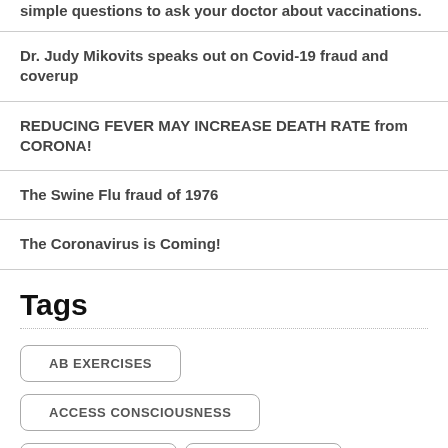simple questions to ask your doctor about vaccinations.
Dr. Judy Mikovits speaks out on Covid-19 fraud and coverup
REDUCING FEVER MAY INCREASE DEATH RATE from CORONA!
The Swine Flu fraud of 1976
The Coronavirus is Coming!
Tags
AB EXERCISES
ACCESS CONSCIOUSNESS